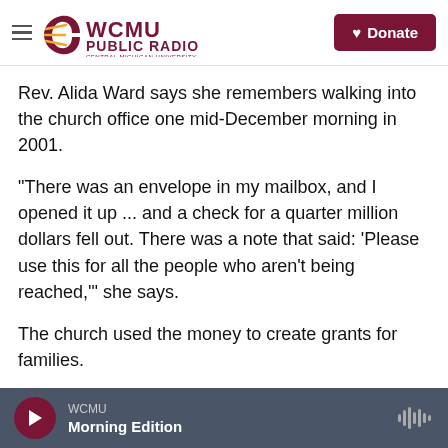WCMU Public Radio – Central Michigan University | Donate
Rev. Alida Ward says she remembers walking into the church office one mid-December morning in 2001.
"There was an envelope in my mailbox, and I opened it up ... and a check for a quarter million dollars fell out. There was a note that said: 'Please use this for all the people who aren't being reached,'" she says.
The church used the money to create grants for families.
WCMU – Morning Edition